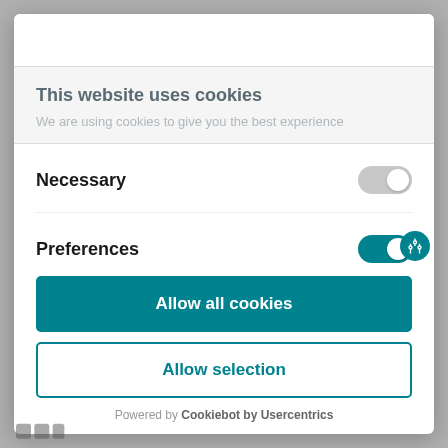This website uses cookies
We are using cookies to give you the best experience
Necessary
Preferences
Allow all cookies
Allow selection
Powered by Cookiebot by Usercentrics